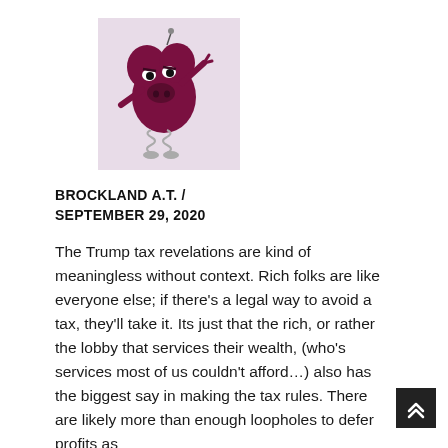[Figure (illustration): A cartoon character resembling an angry dark red/maroon blob creature with a snout like a pig or bear, raising one arm/fist, with a coiled spring or tail below, set against a light purple/lavender square background.]
BROCKLAND A.T. / SEPTEMBER 29, 2020
The Trump tax revelations are kind of meaningless without context. Rich folks are like everyone else; if there's a legal way to avoid a tax, they'll take it. Its just that the rich, or rather the lobby that services their wealth, (who's services most of us couldn't afford…) also has the biggest say in making the tax rules. There are likely more than enough loopholes to defer profits as